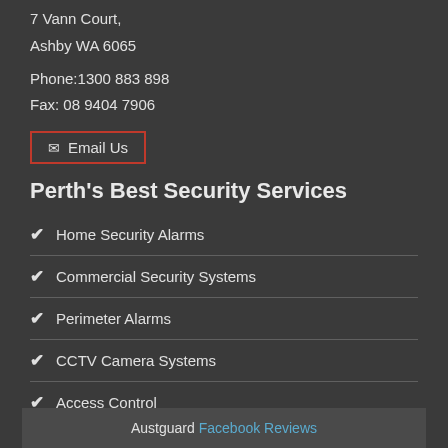7 Vann Court, Ashby WA 6065
Phone:1300 883 898
Fax: 08 9404 7906
✉ Email Us
Perth's Best Security Services
Home Security Alarms
Commercial Security Systems
Perimeter Alarms
CCTV Camera Systems
Access Control
Alarm Monitoring
Austguard Facebook Reviews